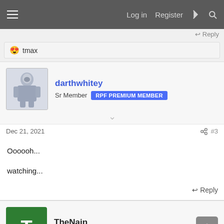Log in  Register
↩ Reply
😍 tmax
darthwhitey
Sr Member  RPF PREMIUM MEMBER
Dec 21, 2021  #3
Oooooh...

watching...
↩ Reply
TheNain
New Member
Dec 22, 2021  #4